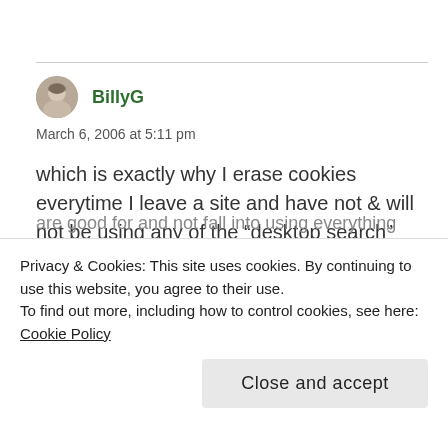[Figure (illustration): Small circular avatar photo of a bald man, used as user profile image for commenter BillyG]
BillyG
March 6, 2006 at 5:11 pm
which is exactly why I erase cookies everytime I leave a site and have not & will not be using any of the “desktop search” engines (I don’t keep enuff emails to have any problem searching thru on my
are good for and not fall into using everything
Privacy & Cookies: This site uses cookies. By continuing to use this website, you agree to their use.
To find out more, including how to control cookies, see here: Cookie Policy
Close and accept